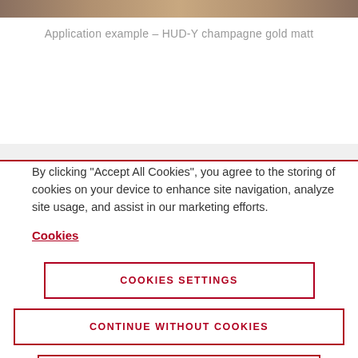[Figure (photo): Top image bar showing champagne gold matt surface]
Application example – HUD-Y champagne gold matt
By clicking “Accept All Cookies”, you agree to the storing of cookies on your device to enhance site navigation, analyze site usage, and assist in our marketing efforts.
Cookies
COOKIES SETTINGS
CONTINUE WITHOUT COOKIES
ACCEPT ALL COOKIES